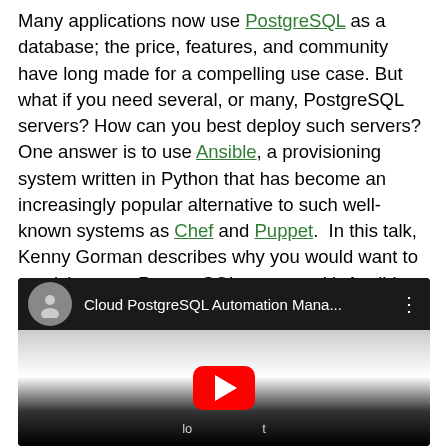Many applications now use PostgreSQL as a database; the price, features, and community have long made for a compelling use case. But what if you need several, or many, PostgreSQL servers? How can you best deploy such servers? One answer is to use Ansible, a provisioning system written in Python that has become an increasingly popular alternative to such well-known systems as Chef and Puppet.  In this talk, Kenny Gorman describes why you would want to provision your PostgreSQL servers with Ansible, and then how you can do so.
[Figure (screenshot): Embedded YouTube video player showing 'Cloud PostgreSQL Automation Mana...' with a YouTube play button on a dark thumbnail]